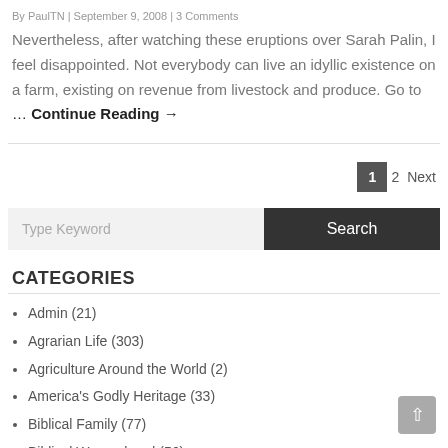By PaulTN | September 9, 2008 | 3 Comments
Nevertheless, after watching these eruptions over Sarah Palin, I feel disappointed. Not everybody can live an idyllic existence on a farm, existing on revenue from livestock and produce. Go to … Continue Reading →
1  2  Next
Type Keyword  Search
CATEGORIES
Admin (21)
Agrarian Life (303)
Agriculture Around the World (2)
America's Godly Heritage (33)
Biblical Family (77)
Biblical Womanhood (56)